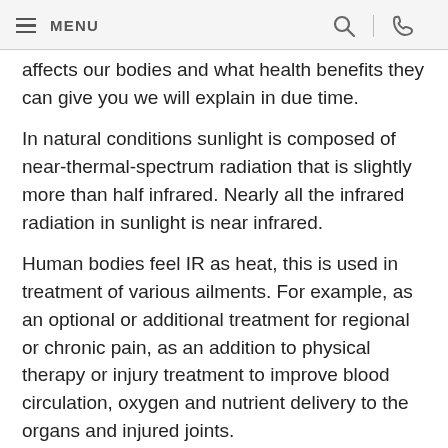MENU
affects our bodies and what health benefits they can give you we will explain in due time.
In natural conditions sunlight is composed of near-thermal-spectrum radiation that is slightly more than half infrared. Nearly all the infrared radiation in sunlight is near infrared.
Human bodies feel IR as heat, this is used in treatment of various ailments. For example, as an optional or additional treatment for regional or chronic pain, as an addition to physical therapy or injury treatment to improve blood circulation, oxygen and nutrient delivery to the organs and injured joints.
Infrared therapy is also used to aid in elimination of